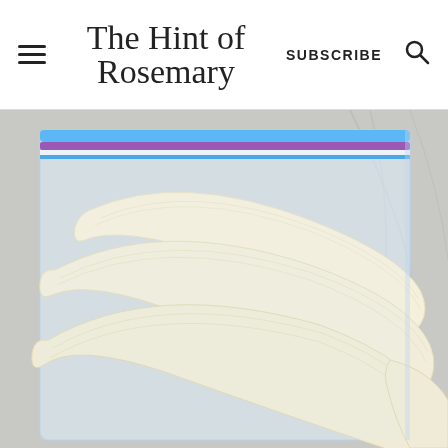The Hint of Rosemary — SUBSCRIBE — Search icon
[Figure (photo): Close-up photo of three peeled bananas inside a clear zip-lock freezer bag with blue and purple zip seal, placed on a light marble/granite surface. The bananas are arranged overlapping, showing their pale cream-yellow color.]